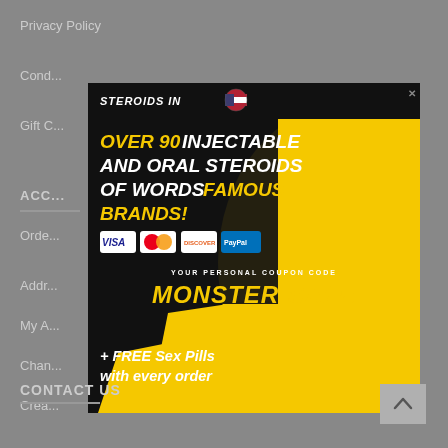Privacy Policy
Cond...
Gift C...
ACC...
Orde...
Addr...
My A...
Chan...
Crea...
[Figure (infographic): Advertisement popup for steroids website. Dark background with yellow accents. Shows muscular athlete. Text: STEROIDS IN [US flag]. OVER 90 INJECTABLE AND ORAL STEROIDS OF WORDS FAMOUS BRANDS! Payment badges: VISA, Mastercard, Discover, PayPal. YOUR PERSONAL COUPON CODE: MONSTER-SALE. + FREE Sex Pills with every order.]
CONTACT US